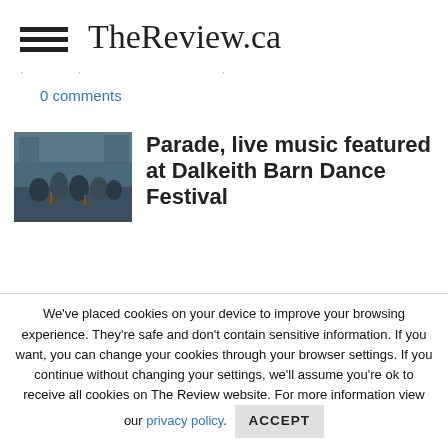TheReview.ca
0 comments
[Figure (photo): Band performing outdoors at a festival, musicians with guitars on a street or outdoor stage]
Parade, live music featured at Dalkeith Barn Dance Festival
We've placed cookies on your device to improve your browsing experience. They're safe and don't contain sensitive information. If you want, you can change your cookies through your browser settings. If you continue without changing your settings, we'll assume you're ok to receive all cookies on The Review website. For more information view our privacy policy.